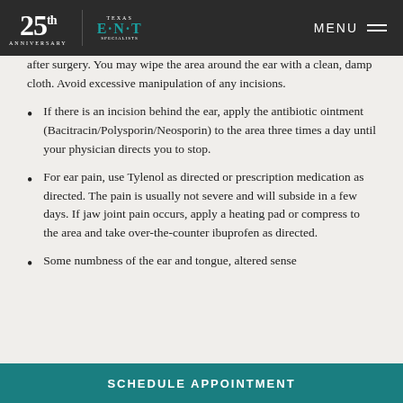Texas ENT Specialists - 25th Anniversary | MENU
after surgery. You may wipe the area around the ear with a clean, damp cloth. Avoid excessive manipulation of any incisions.
If there is an incision behind the ear, apply the antibiotic ointment (Bacitracin/Polysporin/Neosporin) to the area three times a day until your physician directs you to stop.
For ear pain, use Tylenol as directed or prescription medication as directed. The pain is usually not severe and will subside in a few days. If jaw joint pain occurs, apply a heating pad or compress to the area and take over-the-counter ibuprofen as directed.
Some numbness of the ear and tongue, altered sense
SCHEDULE APPOINTMENT